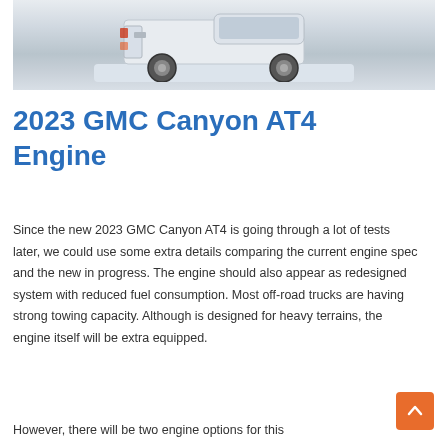[Figure (photo): Rear view of a white GMC Canyon AT4 pickup truck driving on a snowy road]
2023 GMC Canyon AT4 Engine
Since the new 2023 GMC Canyon AT4 is going through a lot of tests later, we could use some extra details comparing the current engine spec and the new in progress. The engine should also appear as redesigned system with reduced fuel consumption. Most off-road trucks are having strong towing capacity. Although is designed for heavy terrains, the engine itself will be extra equipped.
However, there will be two engine options for this